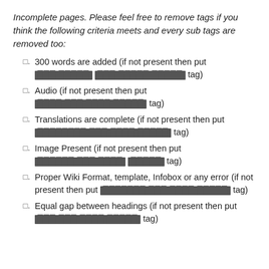Incomplete pages. Please feel free to remove tags if you think the following criteria meets and every sub tags are removed too:
300 words are added (if not present then put [REDACTED] tag)
Audio (if not present then put [REDACTED] tag)
Translations are complete (if not present then put [REDACTED] tag)
Image Present (if not present then put [REDACTED] tag)
Proper Wiki Format, template, Infobox or any error (if not present then put [REDACTED] tag)
Equal gap between headings (if not present then put [REDACTED] tag)